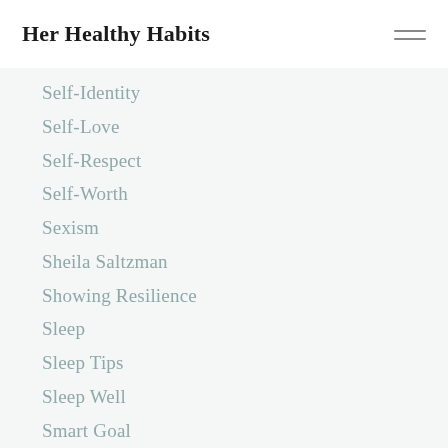Her Healthy Habits
Self-Identity
Self-Love
Self-Respect
Self-Worth
Sexism
Sheila Saltzman
Showing Resilience
Sleep
Sleep Tips
Sleep Well
Smart Goal
Smoothie
Smoothie Hacks
Smoothie-Making